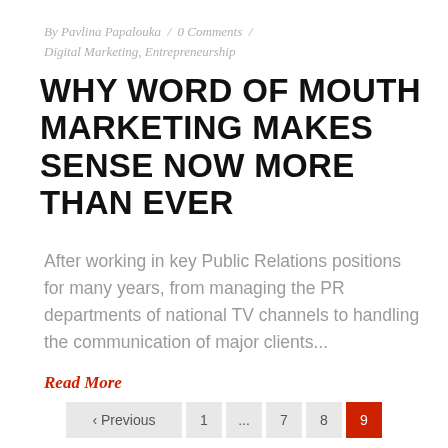By Pavlina Papalouka / 0 Comments / Digital Marketing, Entrepreneurship
WHY WORD OF MOUTH MARKETING MAKES SENSE NOW MORE THAN EVER
After working in key Public Relations positions for many years, from managing the PR departments of national TV channels to handling the communication of major clients...
Read More
« Previous  1  ...  7  8  9